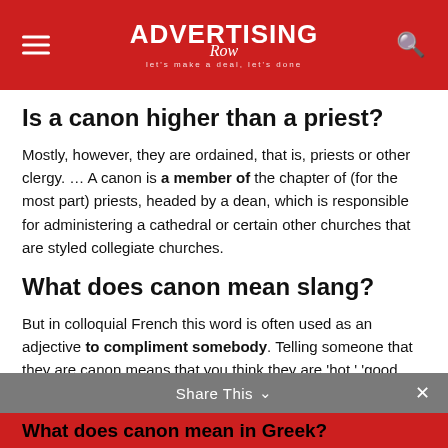ADVERTISING Row — let's make a deal, let's done
Is a canon higher than a priest?
Mostly, however, they are ordained, that is, priests or other clergy. … A canon is a member of the chapter of (for the most part) priests, headed by a dean, which is responsible for administering a cathedral or certain other churches that are styled collegiate churches.
What does canon mean slang?
But in colloquial French this word is often used as an adjective to compliment somebody. Telling someone that they are canon means that you think they are 'hot,' 'good looking' or 'gorgeous. '
Share This ∨  ×
What does canon mean in Greek?